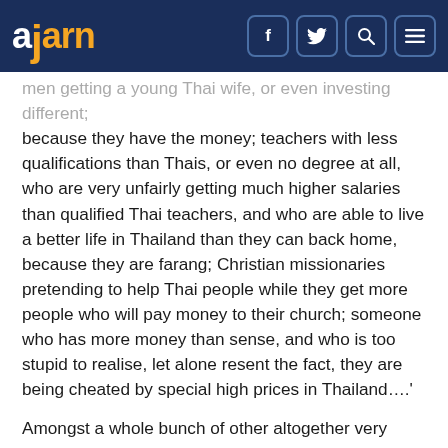ajarn — navigation header with social icons (f, twitter, search, menu)
…men getting a young Thai wife, or even investing different; because they have the money; teachers with less qualifications than Thais, or even no degree at all, who are very unfairly getting much higher salaries than qualified Thai teachers, and who are able to live a better life in Thailand than they can back home, because they are farang; Christian missionaries pretending to help Thai people while they get more people who will pay money to their church; someone who has more money than sense, and who is too stupid to realise, let alone resent the fact, they are being cheated by special high prices in Thailand….'
Amongst a whole bunch of other altogether very uncomplimentary things - the point is, if this is some of the 'cultural baggage' that hangs off the word in their minds, and one doesn't happen to belong to any of these categories, to be called a farang, especially if putting you in one of these categories seems to be their obvious intention, is highly